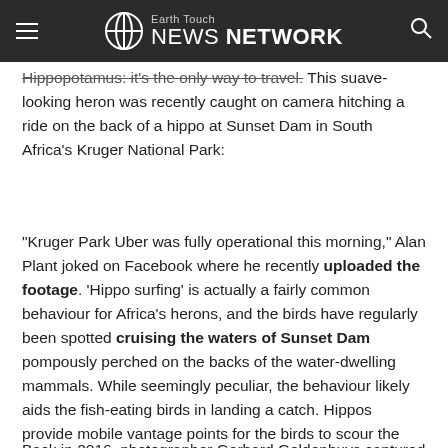Earth Touch NEWS NETWORK
Hippopotamus: it's the only way to travel. This suave-looking heron was recently caught on camera hitching a ride on the back of a hippo at Sunset Dam in South Africa's Kruger National Park:
"Kruger Park Uber was fully operational this morning," Alan Plant joked on Facebook where he recently uploaded the footage. 'Hippo surfing' is actually a fairly common behaviour for Africa's herons, and the birds have regularly been spotted cruising the waters of Sunset Dam pompously perched on the backs of the water-dwelling mammals. While seemingly peculiar, the behaviour likely aids the fish-eating birds in landing a catch. Hippos provide mobile vantage points for the birds to scour the water for any potential meals.
Back in 2016, photographer Gerhard Geldenhuys captured a marvellous series of photos showing a grey heron